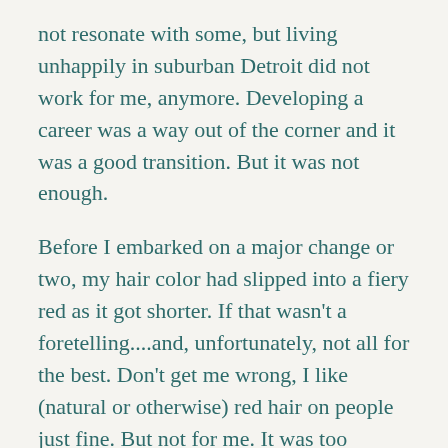not resonate with some, but living unhappily in suburban Detroit did not work for me, anymore. Developing a career was a way out of the corner and it was a good transition. But it was not enough.

Before I embarked on a major change or two, my hair color had slipped into a fiery red as it got shorter. If that wasn't a foretelling....and, unfortunately, not all for the best. Don't get me wrong, I like (natural or otherwise) red hair on people just fine. But not for me. It was too flashy; it was an abrasive red. I was restless and mad, at times drinking again to muffle the miseries. I was getting ready to do something drastic even though I loved working and adored my children. When really f**ked...